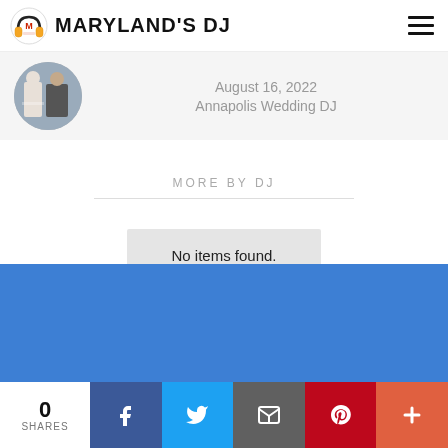MARYLAND'S DJ
August 16, 2022
Annapolis Wedding DJ
MORE BY DJ
No items found.
0 SHARES